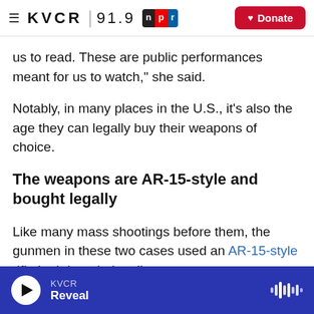≡ KVCR | 91.9 npr Donate
us to read. These are public performances meant for us to watch," she said.
Notably, in many places in the U.S., it's also the age they can legally buy their weapons of choice.
The weapons are AR-15-style and bought legally
Like many mass shootings before them, the gunmen in these two cases used an AR-15-style rifle both bought legally.
KVCR Reveal